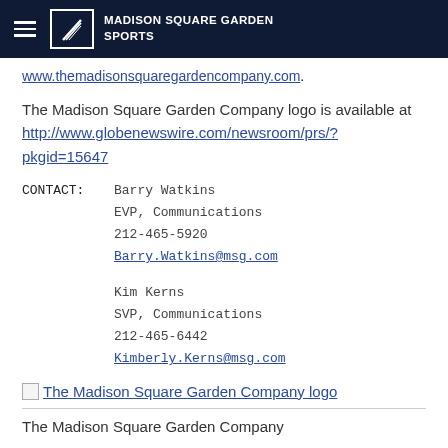MADISON SQUARE GARDEN SPORTS
www.themadisonsquaregardencompany.com.
The Madison Square Garden Company logo is available at http://www.globenewswire.com/newsroom/prs/?pkgid=15647
CONTACT:  Barry Watkins
          EVP, Communications
          212-465-5920
          Barry.Watkins@msg.com

          Kim Kerns
          SVP, Communications
          212-465-6442
          Kimberly.Kerns@msg.com
[Figure (logo): The Madison Square Garden Company logo image placeholder with link]
The Madison Square Garden Company